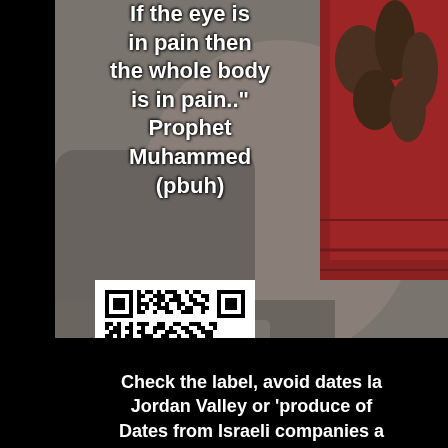[Figure (photo): Background photo of dates (fruit) in a red woven basket, placed on rubble/concrete debris]
If the eye is in pain then the whole body is in pain.." Prophet Muhammed (pbuh)
[Figure (other): QR code in white box]
Check the label, avoid dates la Jordan Valley or 'produce of Dates from Israeli companies a